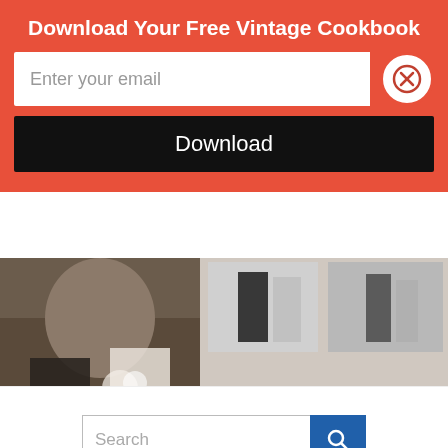[Figure (screenshot): Website background showing wedding photos strip, search bar, dark navigation bar, and kettle/cookware photo at the bottom, partially obscured by a modal overlay]
Download Your Free Vintage Cookbook
Enter your email
Download